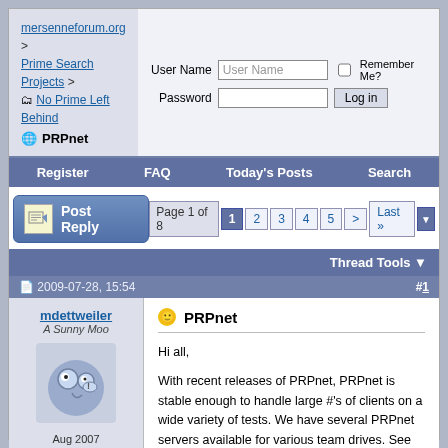mersenneforum.org > Prime Search Projects > No Prime Left Behind > PRPnet
User Name | Password | Remember Me? | Log in
Register | FAQ | Today's Posts | Search
Post Reply | Page 1 of 8  1 2 3 4 5 > Last »
Thread Tools
2009-07-28, 15:54  #1
mdettweiler
A Sunny Moo
Aug 2007
USA (GMT-5)
186916 Posts
PRPnet
Hi all,

With recent releases of PRPnet, PRPnet is stable enough to handle large #'s of clients on a wide variety of tests. We have several PRPnet servers available for various team drives. See PRPnet servers for NPLB for details.

For those unfamiliar with PRPnet, it was designed by Mark Rodenkirch (who goes by "rogue" on this forum) to replace the original LLnet software. LLnet, due to its